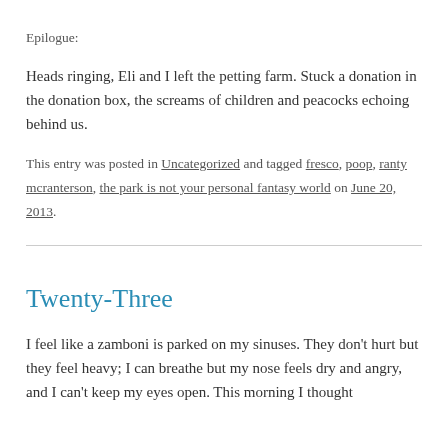Epilogue:
Heads ringing, Eli and I left the petting farm. Stuck a donation in the donation box, the screams of children and peacocks echoing behind us.
This entry was posted in Uncategorized and tagged fresco, poop, ranty mcranterson, the park is not your personal fantasy world on June 20, 2013.
Twenty-Three
I feel like a zamboni is parked on my sinuses. They don't hurt but they feel heavy; I can breathe but my nose feels dry and angry, and I can't keep my eyes open. This morning I thought